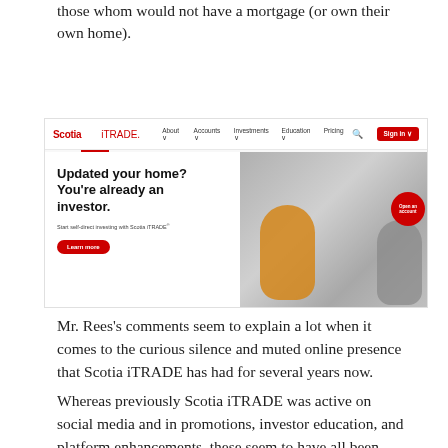those whom would not have a mortgage (or own their own home).
[Figure (screenshot): Screenshot of Scotia iTRADE website showing navigation bar with About, Accounts, Investments, Education, Pricing links and Sign In button. Hero section shows bold text 'Updated your home? You're already an investor.' with subtext 'Start self-direct investing with Scotia iTRADE*', a red 'Learn more' button, and a photo of two women painting a room.]
Mr. Rees's comments seem to explain a lot when it comes to the curious silence and muted online presence that Scotia iTRADE has had for several years now.
Whereas previously Scotia iTRADE was active on social media and in promotions, investor education, and platform enhancements, these seem to have all been